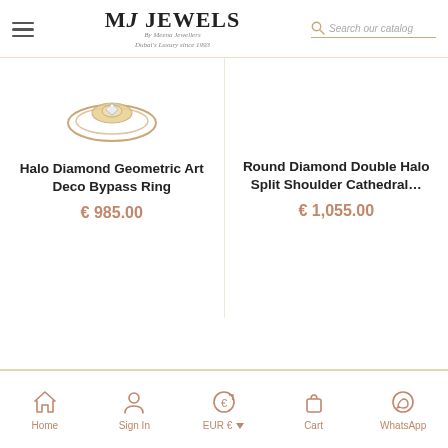MJ Jewels - By Meena Jewellers - Dubai's Luxury since 1993 | Search our catalog
[Figure (photo): Partial view of a diamond ring product image at top left]
Halo Diamond Geometric Art Deco Bypass Ring
€ 985.00
Round Diamond Double Halo Split Shoulder Cathedral…
€ 1,055.00
Home | Sign In | EUR € | Cart | WhatsApp